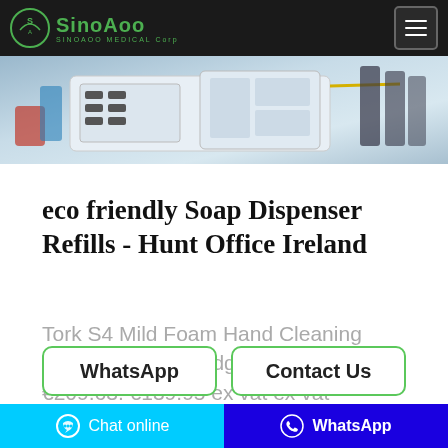SinoAoo Medical Corp
[Figure (photo): Medical or industrial equipment/machinery photo, partially cropped, showing white electronic devices on a lab or production surface]
eco friendly Soap Dispenser Refills - Hunt Office Ireland
Tork S4 Mild Foam Hand Cleaning Soap 1 Litre Cartridge … RRP: €209.63. €139.95 ex vat ex vat
WhatsApp
Contact Us
Chat online  WhatsApp